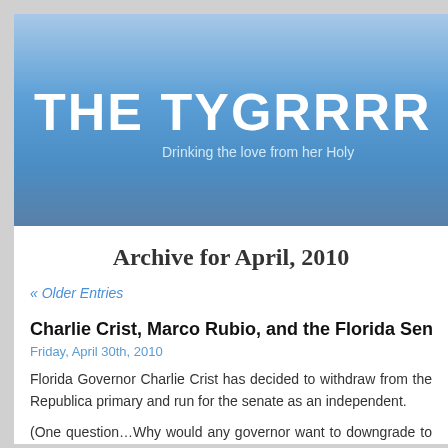THE TYGRRRR E...
Drinking the love from her Holy...
Archive for April, 2010
« Older Entries
Charlie Crist, Marco Rubio, and the Florida Senate Rac...
Friday, April 30th, 2010
Florida Governor Charlie Crist has decided to withdraw from the Republica... primary and run for the senate as an independent.
(One question…Why would any governor want to downgrade to being a... Governors actually do things. One day I want to know why Crist choo...